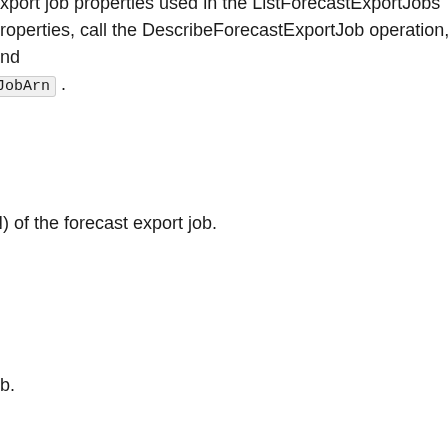export job properties used in the ListForecastExportJobs properties, call the DescribeForecastExportJob operation, and JobArn .
N) of the forecast export job.
ob.
torage Service (Amazon S3) bucket where the forecast is
Storage Service (Amazon S3) bucket along with the credentials
ple Storage Service (Amazon S3) bucket or file(s) in an Amazon